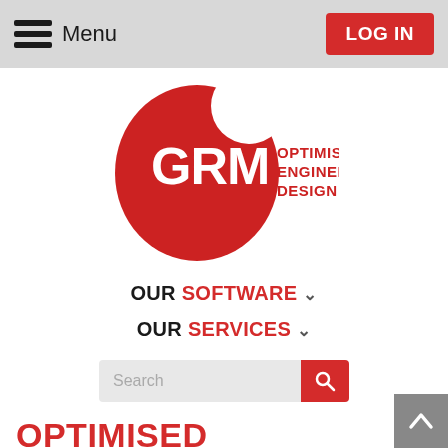Menu  LOG IN
[Figure (logo): GRM Optimised Engineering Design logo — red circle with white GRM text and red text OPTIMISED ENGINEERING DESIGN to the right]
OUR SOFTWARE ∨
OUR SERVICES ∨
Search
OPTIMISED ENGINEERING DESIGN